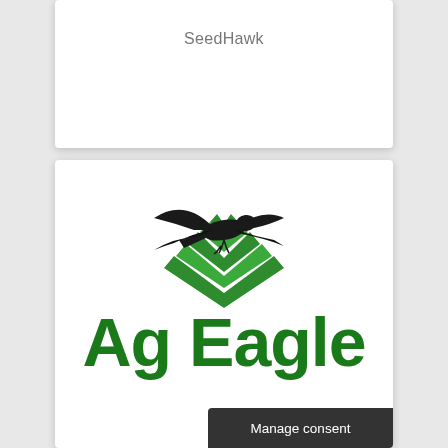SeedHawk
[Figure (logo): AgEagle logo with eagle silhouette flying over green chevron field rows, with 'Ag Eagle' green bold text below]
Manage consent